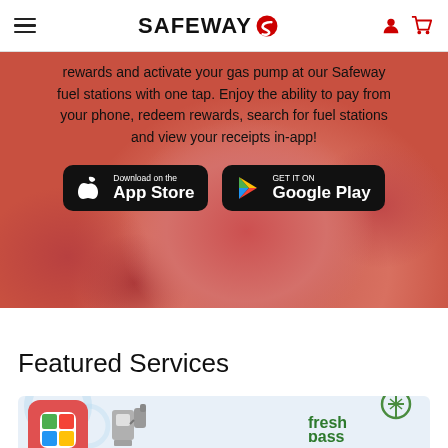SAFEWAY
rewards and activate your gas pump at our Safeway fuel stations with one tap. Enjoy the ability to pay from your phone, redeem rewards, search for fuel stations and view your receipts in-app!
[Figure (screenshot): Download on the App Store button and GET IT ON Google Play button on a red tomato background]
Featured Services
[Figure (screenshot): FreshPass card with red rounded square icon, gas pump icon, and fresh pass logo on light blue background]